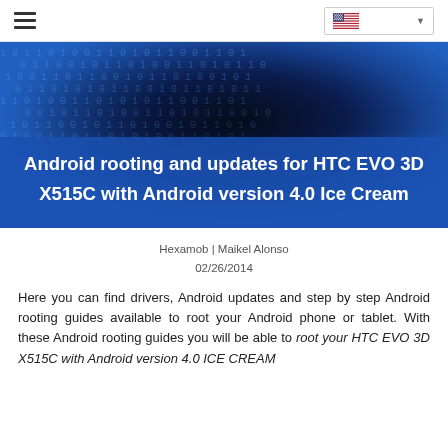hamburger menu | language selector (US flag)
[Figure (illustration): Blue banner with binary code background and semi-transparent overlay containing article title]
Android rooting and updates for HTC EVO 3D X515C with Android version 4.0 Ice Cream
Hexamob | Maikel Alonso
02/26/2014
Here you can find drivers, Android updates and step by step Android rooting guides available to root your Android phone or tablet. With these Android rooting guides you will be able to root your HTC EVO 3D X515C with Android version 4.0 ICE CREAM